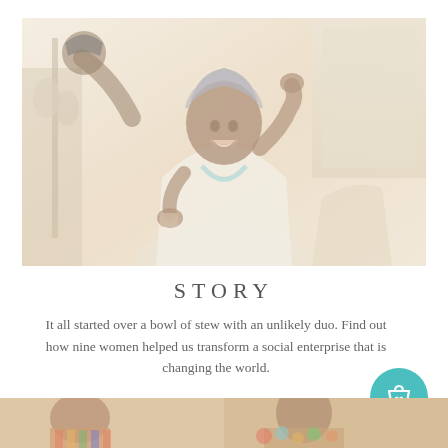[Figure (photo): A smiling African woman wearing a head wrap and white clothing, seated in a medical/hospital setting. Another person is leaning over her in the background. The image has a faded/washed-out warm tone.]
STORY
It all started over a bowl of stew with an unlikely duo. Find out how nine women helped us transform a social enterprise that is changing the world.
[Figure (illustration): A teal/turquoise circular button icon with a shopping bag and heart symbol.]
[Figure (photo): Bottom strip showing two partial photos side by side — left shows a person in colorful African clothing, right shows another subject with colorful details. Both images are faded/washed out.]